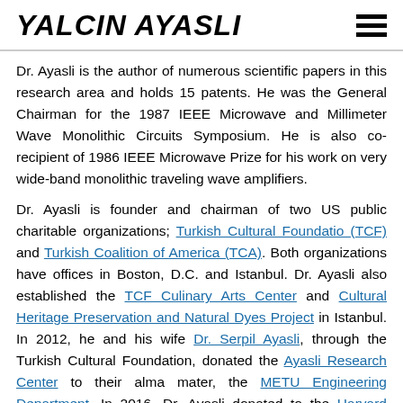YALCIN AYASLI
Dr. Ayasli is the author of numerous scientific papers in this research area and holds 15 patents. He was the General Chairman for the 1987 IEEE Microwave and Millimeter Wave Monolithic Circuits Symposium. He is also co-recipient of 1986 IEEE Microwave Prize for his work on very wide-band monolithic traveling wave amplifiers.
Dr. Ayasli is founder and chairman of two US public charitable organizations; Turkish Cultural Foundatio (TCF) and Turkish Coalition of America (TCA). Both organizations have offices in Boston, D.C. and Istanbul. Dr. Ayasli also established the TCF Culinary Arts Center and Cultural Heritage Preservation and Natural Dyes Project in Istanbul. In 2012, he and his wife Dr. Serpil Ayasli, through the Turkish Cultural Foundation, donated the Ayasli Research Center to their alma mater, the METU Engineering Department. In 2016, Dr. Ayasli donated to the Harvard T.H.Chan School of Public Health a chemical library of small molecule compounds for use in the Genomics and Complex Diseases